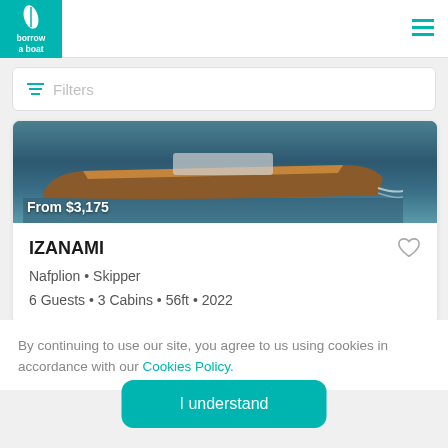borrow a boat
Filters
[Figure (photo): A wooden motorboat (IZANAMI) speeding on open water, viewed from the side. Price overlay: From $3,175]
IZANAMI
Nafplion • Skipper
6 Guests • 3 Cabins • 56ft • 2022
By continuing to use our site, you agree to us using cookies in accordance with our Cookies Policy.
I understand